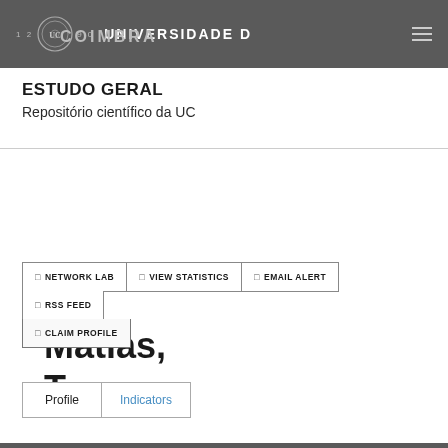Universidade de Coimbra — 1290
ESTUDO GERAL
Repositório científico da UC
Matias, T.
□ NETWORK LAB  □ VIEW STATISTICS  □ EMAIL ALERT  □ RSS FEED  □ CLAIM PROFILE
Profile  Indicators